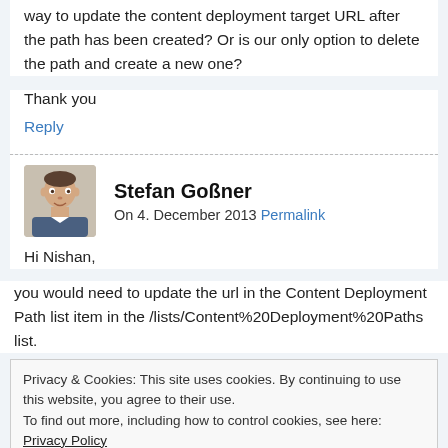way to update the content deployment target URL after the path has been created? Or is our only option to delete the path and create a new one?
Thank you
Reply
Stefan Goßner
On 4. December 2013 Permalink
Hi Nishan,
you would need to update the url in the Content Deployment Path list item in the /lists/Content%20Deployment%20Paths list.
Privacy & Cookies: This site uses cookies. By continuing to use this website, you agree to their use.
To find out more, including how to control cookies, see here: Privacy Policy
Close and accept